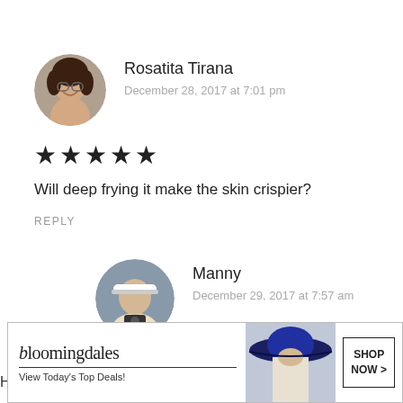[Figure (photo): Circular avatar photo of Rosatita Tirana, a young woman smiling, wearing glasses]
Rosatita Tirana
December 28, 2017 at 7:01 pm
★★★★★
Will deep frying it make the skin crispier?
REPLY
[Figure (photo): Circular avatar photo of Manny, a person wearing a white visor and holding a camera]
Manny
December 29, 2017 at 7:57 am
[Figure (screenshot): Bloomingdale's advertisement banner: 'bloomingdales View Today's Top Deals!' with a woman in a wide-brim hat and a 'SHOP NOW >' button. CLOSE button visible.]